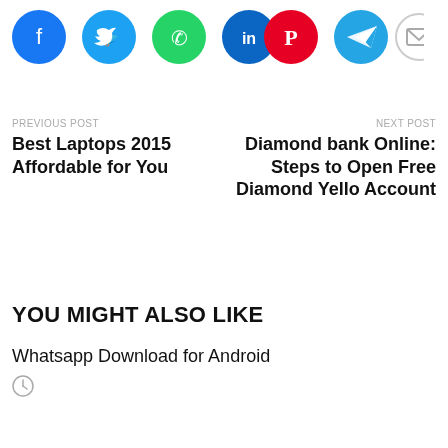[Figure (other): Row of social media share icons: Facebook (blue), Twitter (blue), WhatsApp (green), LinkedIn (dark blue), Pinterest (red), Telegram (blue), Email (gray)]
PREVIOUS POST
Best Laptops 2015 Affordable for You
NEXT POST
Diamond bank Online: Steps to Open Free Diamond Yello Account
YOU MIGHT ALSO LIKE
Whatsapp Download for Android